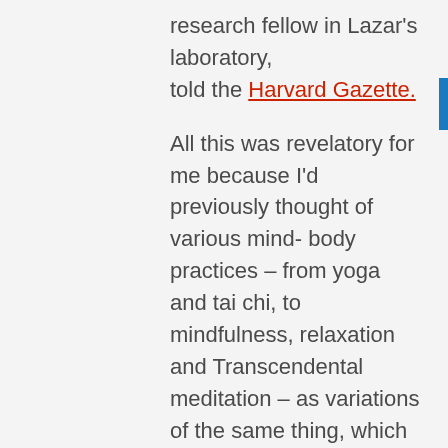research fellow in Lazar's laboratory, told the Harvard Gazette.
All this was revelatory for me because I'd previously thought of various mind-body practices – from yoga and tai chi, to mindfulness, relaxation and Transcendental meditation – as variations of the same thing, which were all essentially aiming at stress reduction. And I'd thought that mindfulness was about learning to relax in order to trigger a response in my body that was opposite to stress.
What I now understood is that the word